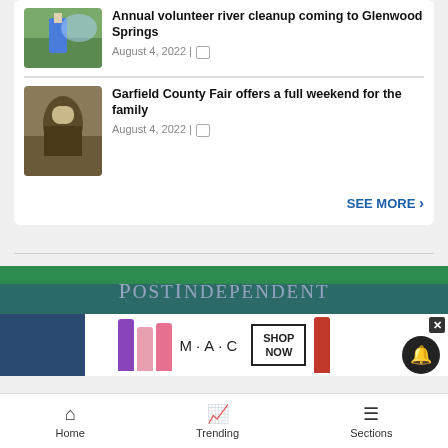Annual volunteer river cleanup coming to Glenwood Springs
August 4, 2022
Garfield County Fair offers a full weekend for the family
August 4, 2022
SEE MORE ›
[Figure (logo): Post Independent logo on green background]
[Figure (advertisement): M·A·C cosmetics ad with lipsticks and SHOP NOW button]
Home   Trending   Sections